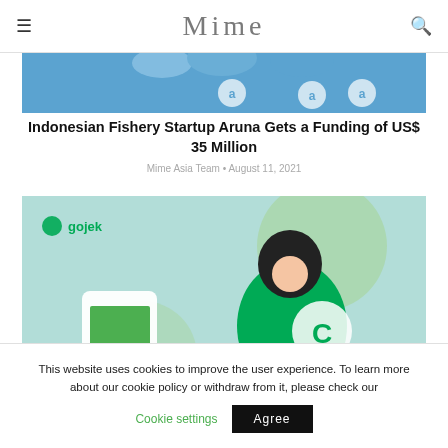Mime
[Figure (photo): Cropped photo of Aruna team members wearing blue shirts with Aruna logo]
Indonesian Fishery Startup Aruna Gets a Funding of US$ 35 Million
Mime Asia Team • August 11, 2021
[Figure (illustration): Gojek branded illustration showing a Gojek delivery rider holding a smartphone with a QR code, with the Gojek logo visible]
This website uses cookies to improve the user experience. To learn more about our cookie policy or withdraw from it, please check our Cookie settings  Agree